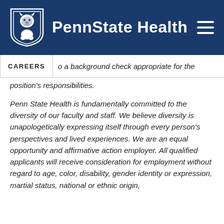Penn State Health
CAREERS  o a background check appropriate for the position's responsibilities.
Penn State Health is fundamentally committed to the diversity of our faculty and staff. We believe diversity is unapologetically expressing itself through every person's perspectives and lived experiences. We are an equal opportunity and affirmative action employer. All qualified applicants will receive consideration for employment without regard to age, color, disability, gender identity or expression, martial status, national or ethnic origin,